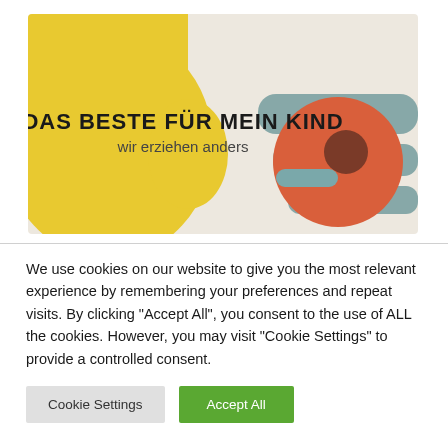[Figure (illustration): Decorative banner image with beige background, large yellow organic blob shape on the left, teal/slate rounded rectangles on the right, and an orange circular shape in the center-right. Bold black text reads 'DAS BESTE FÜR MEIN KIND' with subtitle 'wir erziehen anders' below in lighter weight.]
We use cookies on our website to give you the most relevant experience by remembering your preferences and repeat visits. By clicking "Accept All", you consent to the use of ALL the cookies. However, you may visit "Cookie Settings" to provide a controlled consent.
Cookie Settings
Accept All